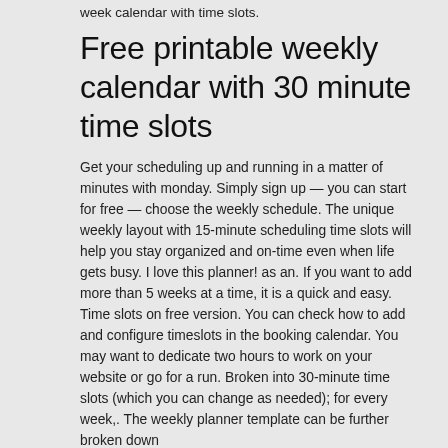week calendar with time slots.
Free printable weekly calendar with 30 minute time slots
Get your scheduling up and running in a matter of minutes with monday. Simply sign up — you can start for free — choose the weekly schedule. The unique weekly layout with 15-minute scheduling time slots will help you stay organized and on-time even when life gets busy. I love this planner! as an. If you want to add more than 5 weeks at a time, it is a quick and easy. Time slots on free version. You can check how to add and configure timeslots in the booking calendar. You may want to dedicate two hours to work on your website or go for a run. Broken into 30-minute time slots (which you can change as needed); for every week,. The weekly planner template can be further broken down